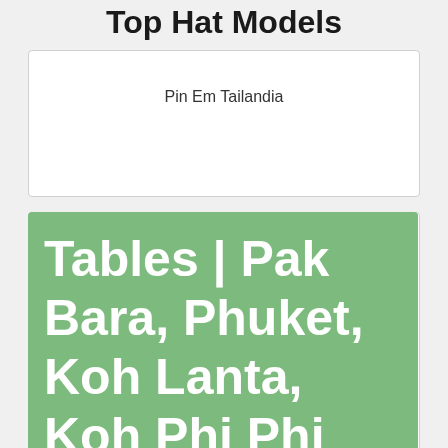Top Hat Models
Pin Em Tailandia
[Figure (illustration): Green background image with large white bold text reading 'Tables | Pak Bara, Phuket, Koh Lanta, Koh Phi Phi']
Pin On Thailand
[Figure (photo): Nature photo showing tree branches with yellow-green leaves against a lush green hillside and blue sky background]